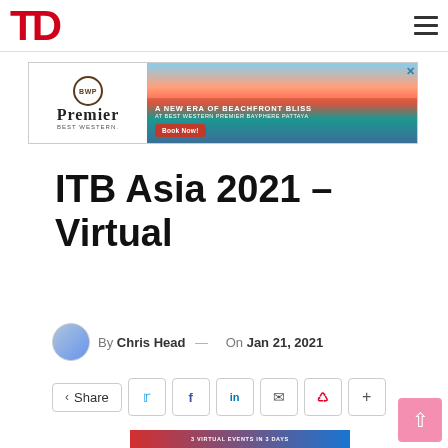TD
[Figure (illustration): BWP Premier Best Western advertisement banner showing a beachfront sunset scene with the text 'A NEW ERA OF BEACHFRONT BLISS AT BEST WESTERN PREMIER BAYPHERE PATTAYA' and a 'Book Now!' button]
ITB Asia 2021 – Virtual
By Chris Head — On Jan 21, 2021
Share (social buttons: Twitter, Facebook, LinkedIn, Email, Pinterest, +)